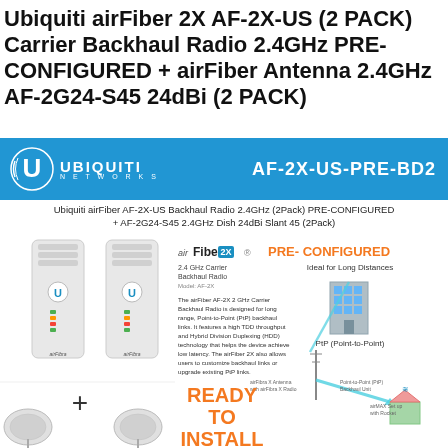Ubiquiti airFiber 2X AF-2X-US (2 PACK) Carrier Backhaul Radio 2.4GHz PRE-CONFIGURED + airFiber Antenna 2.4GHz AF-2G24-S45 24dBi (2 PACK)
[Figure (logo): Ubiquiti Networks banner with model number AF-2X-US-PRE-BD2 in blue background]
Ubiquiti airFiber AF-2X-US Backhaul Radio 2.4GHz (2Pack) PRE-CONFIGURED + AF-2G24-S45 2.4GHz Dish 24dBi Slant 45 (2Pack)
[Figure (photo): Product photo collage showing airFiber 2X radios, dish antennas, PRE-CONFIGURED and READY TO INSTALL labels, plus Point-to-Point diagram with Ideal for Long Distances building illustration]